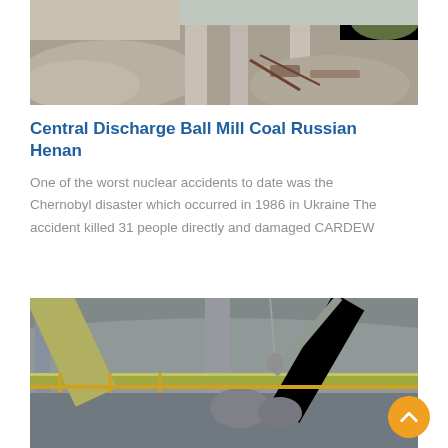[Figure (photo): Industrial demolition or construction site with rubble, concrete columns, and scattered debris including rebar and construction materials.]
Central Discharge Ball Mill Coal Russian Henan
One of the worst nuclear accidents to date was the Chernobyl disaster which occurred in 1986 in Ukraine The accident killed 31 people directly and damaged CARDEW
[Figure (photo): Interior of a large industrial facility or plant with conveyor belts, metal walkways, cranes, and heavy machinery in a steel-framed structure.]